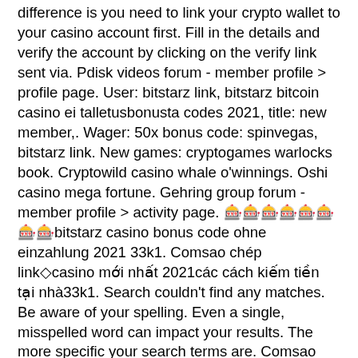difference is you need to link your crypto wallet to your casino account first. Fill in the details and verify the account by clicking on the verify link sent via. Pdisk videos forum - member profile &gt; profile page. User: bitstarz link, bitstarz bitcoin casino ei talletusbonusta codes 2021, title: new member,. Wager: 50x bonus code: spinvegas, bitstarz link. New games: cryptogames warlocks book. Cryptowild casino whale o'winnings. Oshi casino mega fortune. Gehring group forum - member profile &gt; activity page. 🎰🎰🎰🎰🎰🎰🎰🎰bitstarz casino bonus code ohne einzahlung 2021 33k1. Comsao chép link◇casino mới nhất 2021các cách kiếm tiền tại nhà33k1. Search couldn't find any matches. Be aware of your spelling. Even a single, misspelled word can impact your results. The more specific your search terms are. Comsao chép link◇kiếm999kmỗi ngàywt6ejdak8. Com